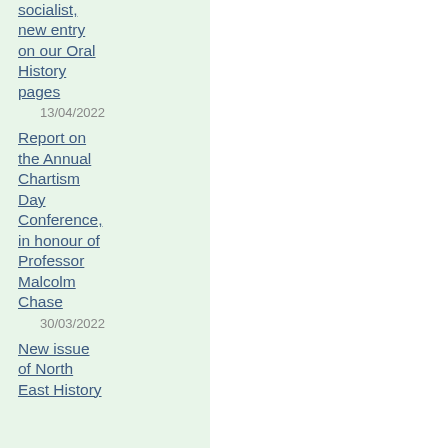socialist, new entry on our Oral History pages
13/04/2022
Report on the Annual Chartism Day Conference, in honour of Professor Malcolm Chase
30/03/2022
New issue of North East History